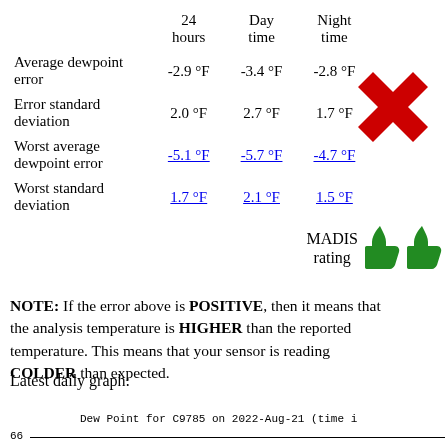|  | 24 hours | Day time | Night time |
| --- | --- | --- | --- |
| Average dewpoint error | -2.9 °F | -3.4 °F | -2.8 °F |
| Error standard deviation | 2.0 °F | 2.7 °F | 1.7 °F |
| Worst average dewpoint error | -5.1 °F | -5.7 °F | -4.7 °F |
| Worst standard deviation | 1.7 °F | 2.1 °F | 1.5 °F |
[Figure (illustration): Large red X mark indicating a negative/fail rating]
[Figure (illustration): Two green thumbs-up icons with MADIS rating label]
NOTE: If the error above is POSITIVE, then it means that the analysis temperature is HIGHER than the reported temperature. This means that your sensor is reading COLDER than expected.
Latest daily graph:
Dew Point for C9785 on 2022-Aug-21 (time i
66